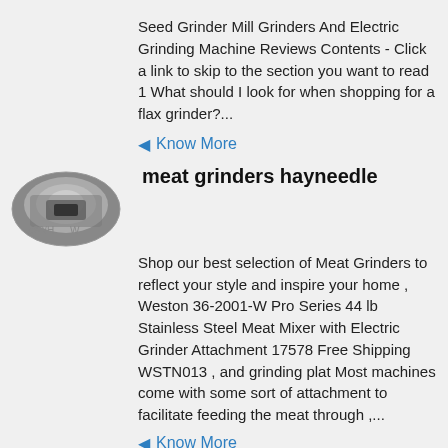Seed Grinder Mill Grinders And Electric Grinding Machine Reviews Contents - Click a link to skip to the section you want to read 1 What should I look for when shopping for a flax grinder?...
Know More
meat grinders hayneedle
[Figure (photo): Oval-shaped photo of a metal grinding machine, dark industrial equipment]
Shop our best selection of Meat Grinders to reflect your style and inspire your home , Weston 36-2001-W Pro Series 44 lb Stainless Steel Meat Mixer with Electric Grinder Attachment 17578 Free Shipping WSTN013 , and grinding plat Most machines come with some sort of attachment to facilitate feeding the meat through ,...
Know More
electric grinder mscdirect
[Figure (photo): Oval-shaped photo of electric grinder equipment, partially visible at bottom]